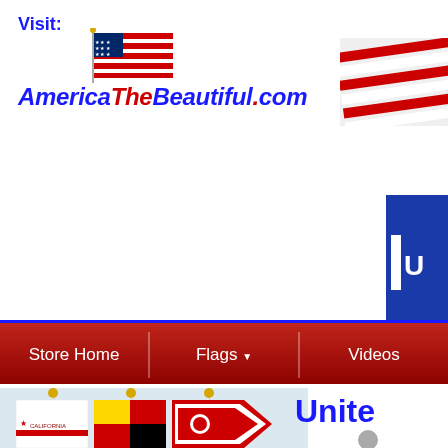Visit:
[Figure (logo): AmericaTheBeautiful.com logo with American flag above the stylized text. Blue and red italic text reading AmericaTheBeautiful.com with star decorations.]
[Figure (photo): Partially visible American flag waving, cropped on the right side of the page header.]
[Figure (photo): Partially visible blue pennant/flag on the right edge of the page.]
[Figure (screenshot): Navigation bar with red background and blue border. Three menu items visible: Store Home, Flags (with dropdown arrow), Videos.]
[Figure (photo): Three state flags on white flagpoles against a light blue background: California flag, Maryland flag, and Ohio flag.]
United
[Figure (photo): Flagpole finial (gold ball) visible at the bottom right of the page.]